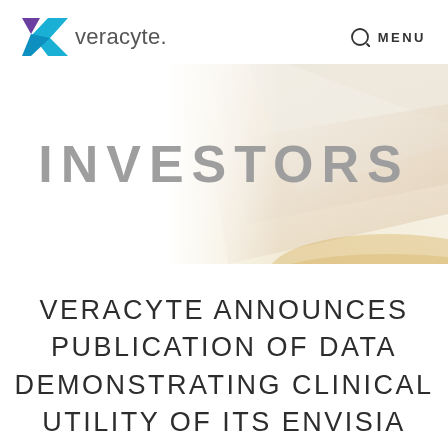[Figure (logo): Veracyte logo with blue and purple arrow/chevron icon and 'veracyte.' wordmark]
MENU
[Figure (illustration): Abstract decorative background image with geometric panels in light beige/gold tones, positioned top-right]
INVESTORS
VERACYTE ANNOUNCES PUBLICATION OF DATA DEMONSTRATING CLINICAL UTILITY OF ITS ENVISIA